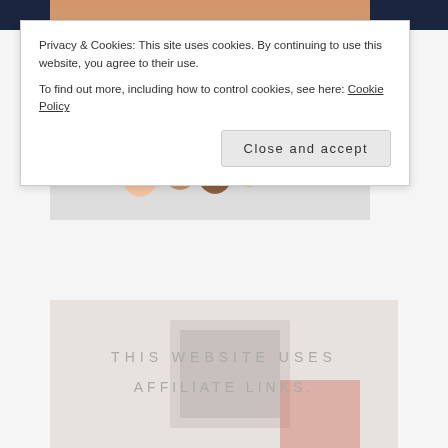[Figure (screenshot): Amazon Prime logo banner at top]
Privacy & Cookies: This site uses cookies. By continuing to use this website, you agree to their use.
To find out more, including how to control cookies, see here: Cookie Policy
Close and accept
[Figure (photo): Group of young people in a car holding a rainbow pride flag outdoors]
[Figure (infographic): THIS WEBSITE USES AFFILIATE LINKS. text overlay on light background image]